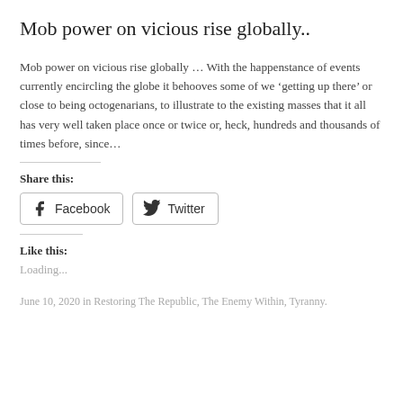Mob power on vicious rise globally..
Mob power on vicious rise globally … With the happenstance of events currently encircling the globe it behooves some of we ‘getting up there’ or close to being octogenarians, to illustrate to the existing masses that it all has very well taken place once or twice or, heck, hundreds and thousands of times before, since…
Share this:
[Figure (other): Share buttons for Facebook and Twitter]
Like this:
Loading...
June 10, 2020 in Restoring The Republic, The Enemy Within, Tyranny.